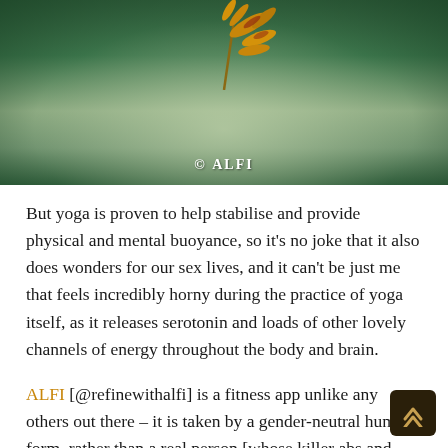[Figure (photo): A decorative image with dark green background and a golden wheat/feather-like element at the top, with '© ALFI' text overlay at the bottom center]
But yoga is proven to help stabilise and provide physical and mental buoyance, so it's no joke that it also does wonders for our sex lives, and it can't be just me that feels incredibly horny during the practice of yoga itself, as it releases serotonin and loads of other lovely channels of energy throughout the body and brain.
ALFI [@refinewithalfi] is a fitness app unlike any others out there – it is taken by a gender-neutral human form, rather than a real person [whose killer abs and slender toned arms may have you reaching for the vodka and hobnobs out of despair] and the posture clinic ensures you are mastering